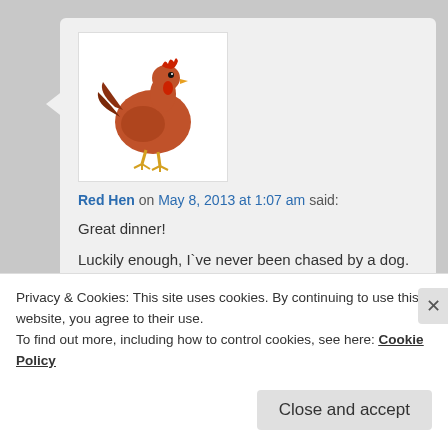[Figure (photo): Avatar image of a red hen (chicken) on white background]
Red Hen on May 8, 2013 at 1:07 am said:
Great dinner!

Luckily enough, I`ve never been chased by a dog. Though I did fall once trying to avoid a taut dog lead. Fell over myself to avoid falling over the dog lead. Yep, silly me!
Reply ↓
Privacy & Cookies: This site uses cookies. By continuing to use this website, you agree to their use.
To find out more, including how to control cookies, see here: Cookie Policy
Close and accept